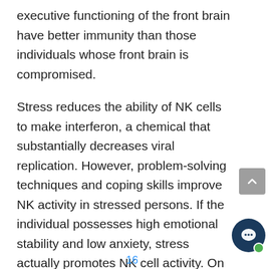executive functioning of the front brain have better immunity than those individuals whose front brain is compromised.
Stress reduces the ability of NK cells to make interferon, a chemical that substantially decreases viral replication. However, problem-solving techniques and coping skills improve NK activity in stressed persons. If the individual possesses high emotional stability and low anxiety, stress actually promotes NK cell activity. On the other hand, the same stress can result in a significant decline in NK cells if the individual possesses high anxiety
16